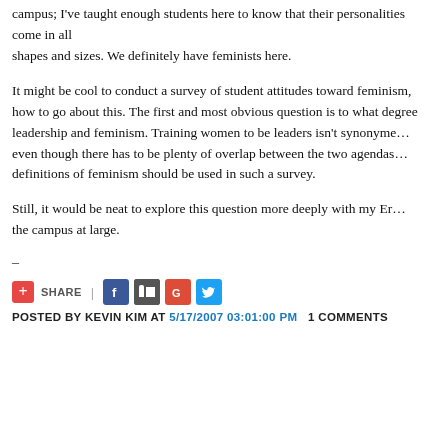campus; I've taught enough students here to know that their personalities come in all shapes and sizes. We definitely have feminists here.
It might be cool to conduct a survey of student attitudes toward feminism, but I'm not sure how to go about this. The first and most obvious question is to what degree do we conflate leadership and feminism. Training women to be leaders isn't synonymous with feminism, even though there has to be plenty of overlap between the two agendas. Also, which definitions of feminism should be used in such a survey.
Still, it would be neat to explore this question more deeply with my Ewha students and the campus at large.
–
[Figure (other): Social share bar with AddThis (red plus), SHARE label, separator, Facebook, Digg, Google+, and Twitter icons]
POSTED BY KEVIN KIM AT 5/17/2007 03:01:00 PM   1 COMMENTS